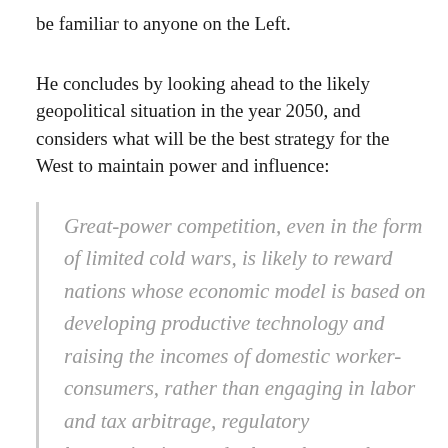be familiar to anyone on the Left.
He concludes by looking ahead to the likely geopolitical situation in the year 2050, and considers what will be the best strategy for the West to maintain power and influence:
Great-power competition, even in the form of limited cold wars, is likely to reward nations whose economic model is based on developing productive technology and raising the incomes of domestic worker-consumers, rather than engaging in labor and tax arbitrage, regulatory harmonization, and other schemes that